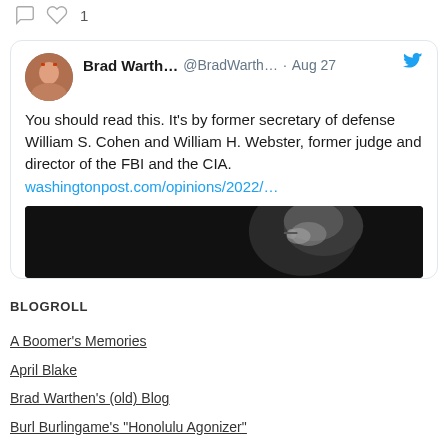[Figure (screenshot): Tweet card from Brad Warth... @BradWarth... on Aug 27 with Twitter bird icon. Text: 'You should read this. It's by former secretary of defense William S. Cohen and William H. Webster, former judge and director of the FBI and the CIA.' Link: washingtonpost.com/opinions/2022/... with a photo of a man's face in dark lighting.]
BLOGROLL
A Boomer's Memories
April Blake
Brad Warthen's (old) Blog
Burl Burlingame's "Honolulu Agonizer"
ColaDaily.com
Edgewater County Confidential